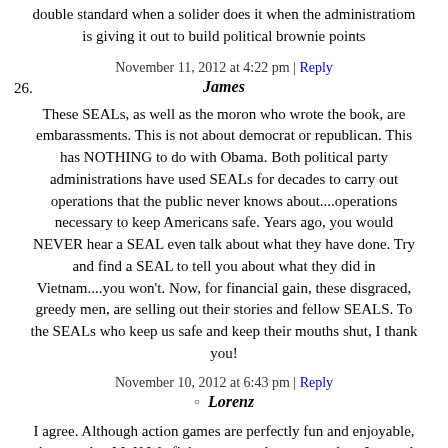double standard when a solider does it when the administratiom is giving it out to build political brownie points
November 11, 2012 at 4:22 pm | Reply
26. James
These SEALs, as well as the moron who wrote the book, are embarassments. This is not about democrat or republican. This has NOTHING to do with Obama. Both political party administrations have used SEALs for decades to carry out operations that the public never knows about....operations necessary to keep Americans safe. Years ago, you would NEVER hear a SEAL even talk about what they have done. Try and find a SEAL to tell you about what they did in Vietnam....you won't. Now, for financial gain, these disgraced, greedy men, are selling out their stories and fellow SEALS. To the SEALs who keep us safe and keep their mouths shut, I thank you!
November 10, 2012 at 6:43 pm | Reply
Lorenz
I agree. Although action games are perfectly fun and enjoyable, the way that MoH Warfighter was made was not okay. Its good to see there's people with fresh